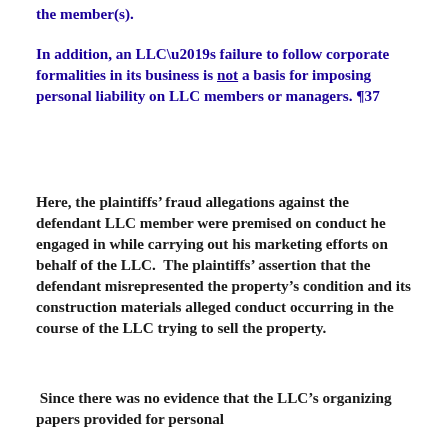the member(s).
In addition, an LLC’s failure to follow corporate formalities in its business is not a basis for imposing personal liability on LLC members or managers. ¶37
Here, the plaintiffs’ fraud allegations against the defendant LLC member were premised on conduct he engaged in while carrying out his marketing efforts on behalf of the LLC.  The plaintiffs’ assertion that the defendant misrepresented the property’s condition and its construction materials alleged conduct occurring in the course of the LLC trying to sell the property.
Since there was no evidence that the LLC’s organizing papers provided for personal